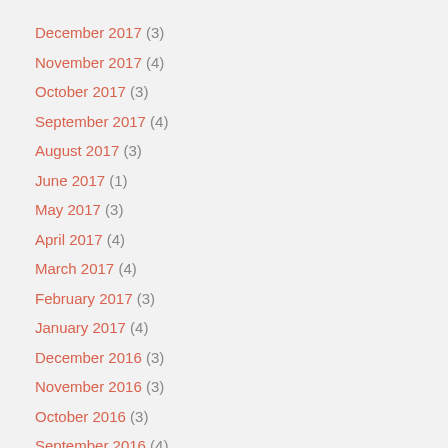December 2017 (3)
November 2017 (4)
October 2017 (3)
September 2017 (4)
August 2017 (3)
June 2017 (1)
May 2017 (3)
April 2017 (4)
March 2017 (4)
February 2017 (3)
January 2017 (4)
December 2016 (3)
November 2016 (3)
October 2016 (3)
September 2016 (4)
August 2016 (4)